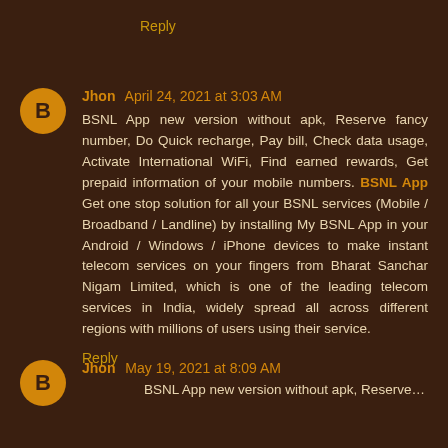Reply
Jhon April 24, 2021 at 3:03 AM
BSNL App new version without apk, Reserve fancy number, Do Quick recharge, Pay bill, Check data usage, Activate International WiFi, Find earned rewards, Get prepaid information of your mobile numbers. BSNL App Get one stop solution for all your BSNL services (Mobile / Broadband / Landline) by installing My BSNL App in your Android / Windows / iPhone devices to make instant telecom services on your fingers from Bharat Sanchar Nigam Limited, which is one of the leading telecom services in India, widely spread all across different regions with millions of users using their service.
Reply
Jhon May 19, 2021 at 8:09 AM
BSNL App...